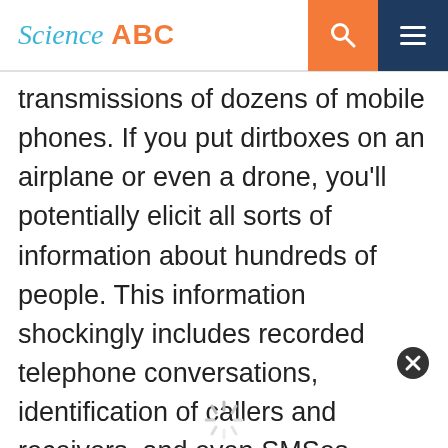Science ABC
transmissions of dozens of mobile phones. If you put dirtboxes on an airplane or even a drone, you'll potentially elicit all sorts of information about hundreds of people. This information shockingly includes recorded telephone conversations, identification of callers and receivers, and even SMSes shared between them.